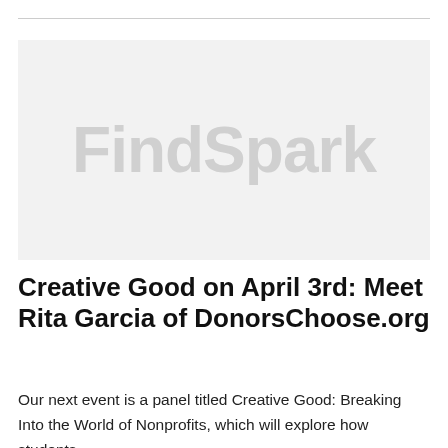[Figure (logo): FindSpark logo watermark on light gray background]
Creative Good on April 3rd: Meet Rita Garcia of DonorsChoose.org
Our next event is a panel titled Creative Good: Breaking Into the World of Nonprofits, which will explore how students,